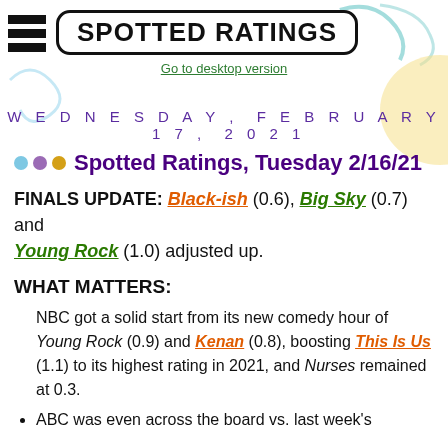SPOTTED RATINGS — Go to desktop version
WEDNESDAY, FEBRUARY 17, 2021
Spotted Ratings, Tuesday 2/16/21
FINALS UPDATE: Black-ish (0.6), Big Sky (0.7) and Young Rock (1.0) adjusted up.
WHAT MATTERS:
NBC got a solid start from its new comedy hour of Young Rock (0.9) and Kenan (0.8), boosting This Is Us (1.1) to its highest rating in 2021, and Nurses remained at 0.3.
ABC was even across the board vs. last week's